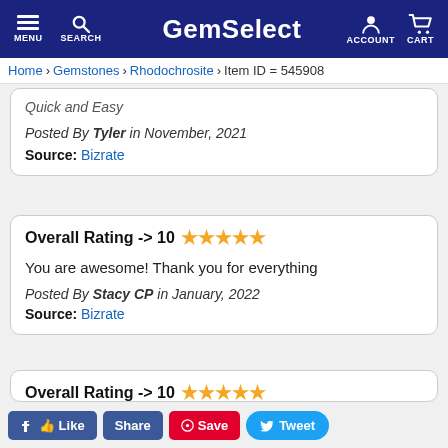GemSelect — MENU SEARCH ACCOUNT CART
Home > Gemstones > Rhodochrosite > Item ID = 545908
Quick and Easy
Posted By Tyler in November, 2021
Source: Bizrate
Overall Rating -> 10 ★★★★★
You are awesome! Thank you for everything
Posted By Stacy CP in January, 2022
Source: Bizrate
Overall Rating -> 10 ★★★★★
...you are buying. Gem